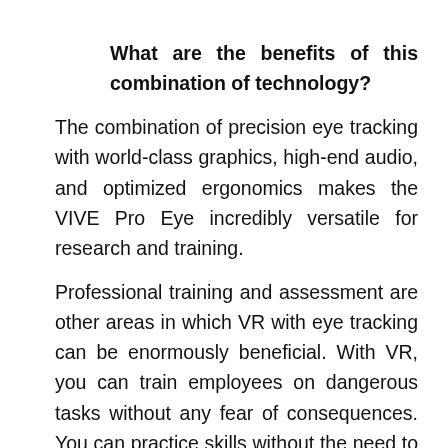What are the benefits of this combination of technology?
The combination of precision eye tracking with world-class graphics, high-end audio, and optimized ergonomics makes the VIVE Pro Eye incredibly versatile for research and training.
Professional training and assessment are other areas in which VR with eye tracking can be enormously beneficial. With VR, you can train employees on dangerous tasks without any fear of consequences. You can practice skills without the need to halt operations or take